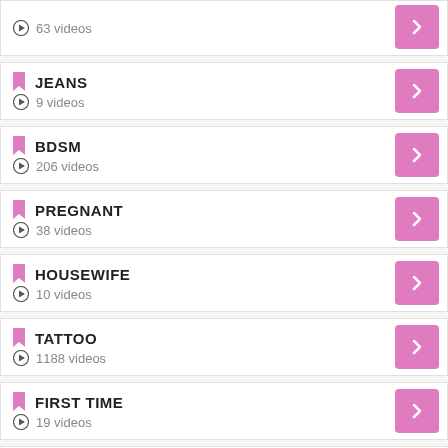63 videos
JEANS · 9 videos
BDSM · 206 videos
PREGNANT · 38 videos
HOUSEWIFE · 10 videos
TATTOO · 1188 videos
FIRST TIME · 19 videos
PIERCING · 80 videos